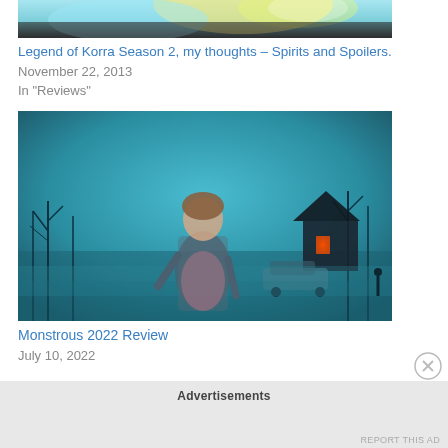[Figure (photo): Partial top of an animated image from Legend of Korra Season 2, showing a glowing teal/yellow background with a dark figure silhouette]
Legend of Korra Season 2, my thoughts – Spirits and Spoilers.
November 22, 2013
In "Reviews"
[Figure (photo): Movie poster for Monstrous 2022: a young woman in a 1950s housewife dress with a pink apron standing in a moody teal-lit scene with bare winter trees, a house with red glowing windows, and a vintage car in the background]
Monstrous 2022 Review
July 10, 2022
Advertisements
REPORT THIS AD